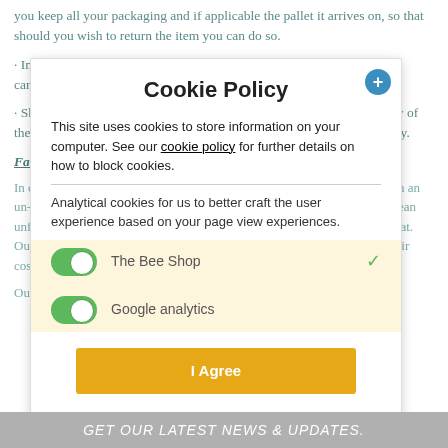you keep all your packaging and if applicable the pallet it arrives on, so that should you wish to return the item you can do so.
In circumstances where products require assembly, products must be carefully dissembled and repackaged before returning the items to us.
Shipping and packaging costs for returns will remain the responsibility of the customer. Refunds will be for the purchase price of the products only.
Fair usage of returns policy:
In order to return items, the product must still have it's packaging and be in an un-used condition. We do offer a try before you buy service, by that we mean unfortunately cannot ship out a large selection of products for you to look at. Our returns policy is subject to the customer arranging for the return at their cost.
Our Returns Policy is in line with and does not affect your statutory rights.
Cookie Policy
This site uses cookies to store information on your computer. See our cookie policy for further details on how to block cookies.
Analytical cookies for us to better craft the user experience based on your page view experiences.
The Bee Shop
Google analytics
I Agree
GET OUR LATEST NEWS & UPDATES.